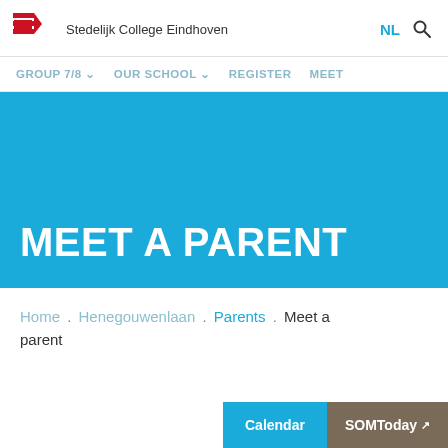Stedelijk College Eindhoven — NL
GROUP 7/8  OUR SCHOOL  REGISTER  MEET
MEET A PARENT
Home . Henegouwenlaan . Parents . Meet a parent
Calendar  SOMToday